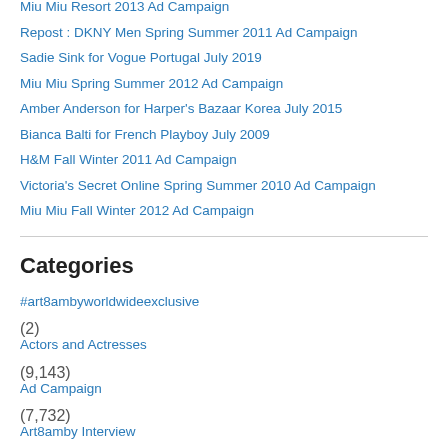Miu Miu Resort 2013 Ad Campaign
Repost : DKNY Men Spring Summer 2011 Ad Campaign
Sadie Sink for Vogue Portugal July 2019
Miu Miu Spring Summer 2012 Ad Campaign
Amber Anderson for Harper's Bazaar Korea July 2015
Bianca Balti for French Playboy July 2009
H&M Fall Winter 2011 Ad Campaign
Victoria's Secret Online Spring Summer 2010 Ad Campaign
Miu Miu Fall Winter 2012 Ad Campaign
Categories
#art8ambyworldwideexclusive (2)
Actors and Actresses (9,143)
Ad Campaign (7,732)
Art8amby Interview (9)
art8ambyonemillion (2)
Artist (144)
Athletes (372)